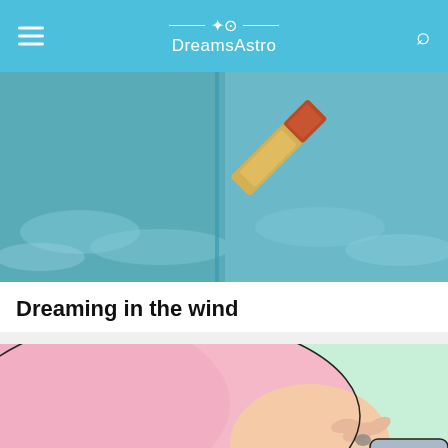DreamsAstro
[Figure (photo): Aerial or sky photo with what appears to be a cigar or rolled object flying against a teal/cloudy sky, split panel composition]
Dreaming in the wind
[Figure (illustration): Cartoon/comic style illustration showing pink and skin-toned shapes, a hand holding something, against a mint green background]
[Figure (photo): Thumbnail photo of a smiling woman with curly hair in a denim jacket outdoors]
Clover-Live Stream Dating
Anuncio